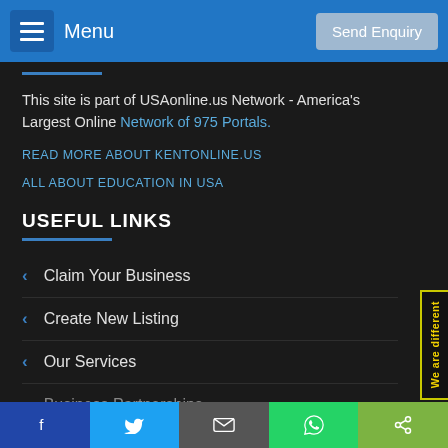Menu | Send Enquiry
This site is part of USAonline.us Network - America's Largest Online Network of 975 Portals.
READ MORE ABOUT KENTONLINE.US
ALL ABOUT EDUCATION IN USA
USEFUL LINKS
Claim Your Business
Create New Listing
Our Services
Business Partnerships